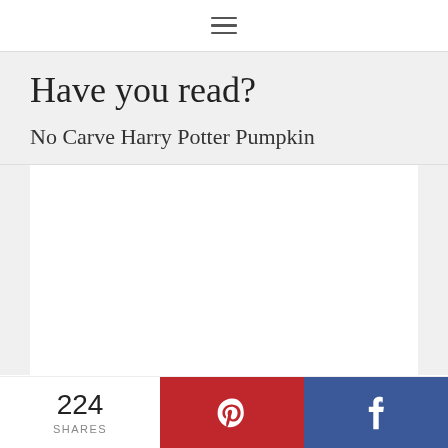≡
Have you read?
No Carve Harry Potter Pumpkin
[Figure (other): White rectangular image area placeholder]
224 SHARES